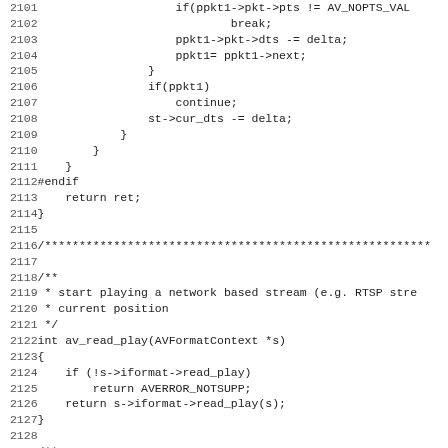Source code listing, lines 2101–2132, showing C code for av_read_play and related functions.